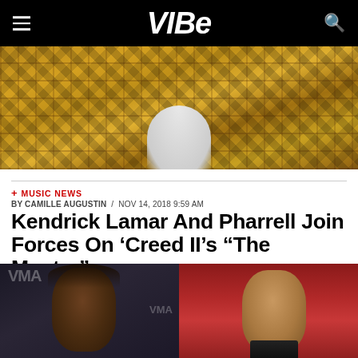VIBE
[Figure (photo): Close-up photo of a person wearing an orange/gold plaid Burberry-style blazer with white shirt underneath, at an event with Samsung branding visible in background]
+ MUSIC NEWS
BY CAMILLE AUGUSTIN / NOV 14, 2018 9:59 AM
Kendrick Lamar And Pharrell Join Forces On 'Creed II's "The Mantra"
[Figure (photo): Side-by-side photos of Kendrick Lamar (left, with braids, dark background with VMA branding) and Pharrell Williams (right, against red background)]